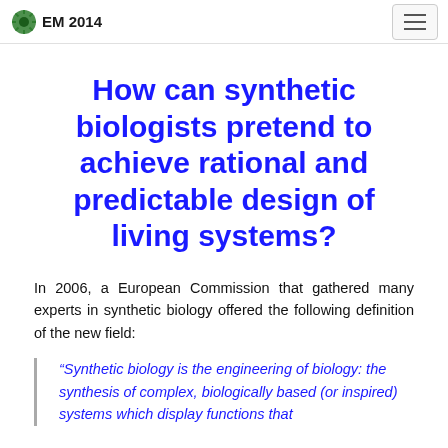EM 2014
How can synthetic biologists pretend to achieve rational and predictable design of living systems?
In 2006, a European Commission that gathered many experts in synthetic biology offered the following definition of the new field:
“Synthetic biology is the engineering of biology: the synthesis of complex, biologically based (or inspired) systems which display functions that